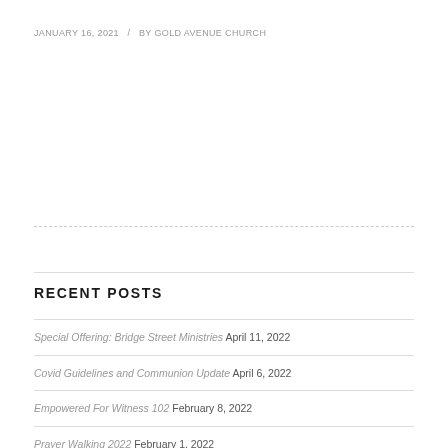JANUARY 16, 2021  /  BY GOLD AVENUE CHURCH
RECENT POSTS
Special Offering: Bridge Street Ministries April 11, 2022
Covid Guidelines and Communion Update April 6, 2022
Empowered For Witness 102 February 8, 2022
Prayer Walking 2022 February 1, 2022